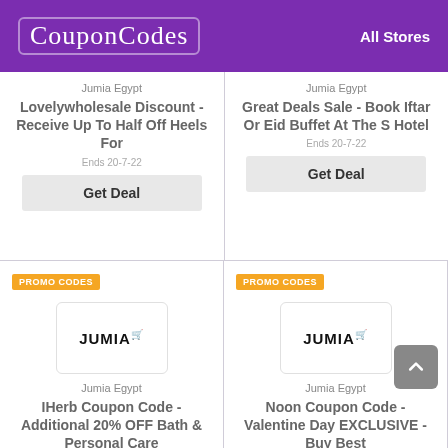CouponCodes — All Stores
Jumia Egypt
Lovelywholesale Discount - Receive Up To Half Off Heels For
Ends 20-7-22
Get Deal
Jumia Egypt
Great Deals Sale - Book Iftar Or Eid Buffet At The S Hotel
Ends 20-7-22
Get Deal
PROMO CODES
[Figure (logo): Jumia logo in white rounded box]
Jumia Egypt
IHerb Coupon Code - Additional 20% OFF Bath & Personal Care
Ends 20-7-22
BATH20
PROMO CODES
[Figure (logo): Jumia logo in white rounded box]
Jumia Egypt
Noon Coupon Code - Valentine Day EXCLUSIVE - Buy Best
Ends 20-7-22
NBE136